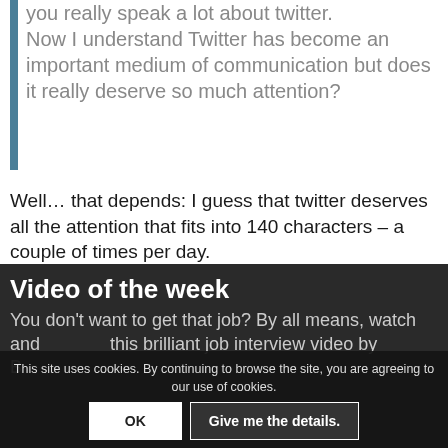you really speak a lot about twitter. Now I understand Twitter has become an important medium of communication but does it really deserve so much attention?
Well... that depends: I guess that twitter deserves all the attention that fits into 140 characters – a couple of times per day.
Video of the week
You don't want to get that job? By all means, watch and this brilliant job interview video by B...
This site uses cookies. By continuing to browse the site, you are agreeing to our use of cookies.